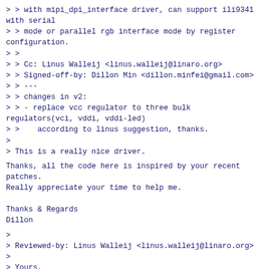> > with mipi_dpi_interface driver, can support ili9341 with serial
> > mode or parallel rgb interface mode by register configuration.
> >
> > Cc: Linus Walleij <linus.walleij@linaro.org>
> > Signed-off-by: Dillon Min <dillon.minfei@gmail.com>
> > ---
> > changes in v2:
> > - replace vcc regulator to three bulk regulators(vci, vddi, vddi-led)
> >    according to linus suggestion, thanks.
>
> This is a really nice driver.
Thanks, all the code here is inspired by your recent patches.
Really appreciate your time to help me.

Thanks & Regards
Dillon
>
> Reviewed-by: Linus Walleij <linus.walleij@linaro.org>
>
> Yours,
> Linus Walleij
linux-arm-kernel mailing list